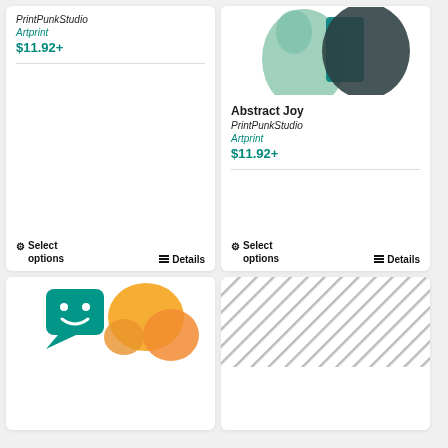PrintPunkStudio
Artprint
$11.92+
Select options
Details
[Figure (illustration): Abstract geometric art print with green, teal, blue and dark grey overlapping oval and rectangular shapes]
Abstract Joy
PrintPunkStudio
Artprint
$11.92+
Select options
Details
[Figure (illustration): Illustration with teal chat bubble icon with smiley face and orange blob shapes]
[Figure (illustration): Grey diagonal striped pattern on white background]